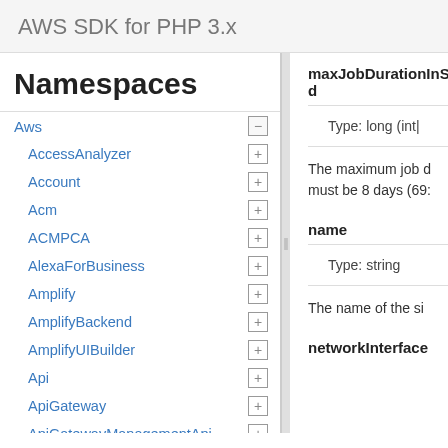AWS SDK for PHP 3.x
Namespaces
Aws
AccessAnalyzer
Account
Acm
ACMPCA
AlexaForBusiness
Amplify
AmplifyBackend
AmplifyUIBuilder
Api
ApiGateway
ApiGatewayManagementApi
maxJobDurationInSeconds
Type: long (int|
The maximum job d must be 8 days (69:
name
Type: string
The name of the si
networkInterface